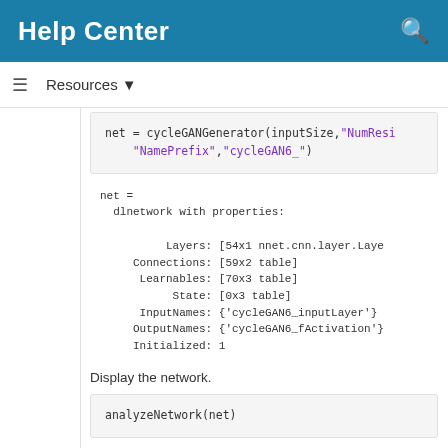Help Center
Resources ▼
net = cycleGANGenerator(inputSize,"NumResi
    "NamePrefix","cycleGAN6_")
net =
  dlnetwork with properties:

          Layers: [54x1 nnet.cnn.layer.Laye
     Connections: [59x2 table]
      Learnables: [70x3 table]
           State: [0x3 table]
      InputNames: {'cycleGAN6_inputLayer'}
     OutputNames: {'cycleGAN6_fActivation'}
     Initialized: 1
Display the network.
analyzeNetwork(net)